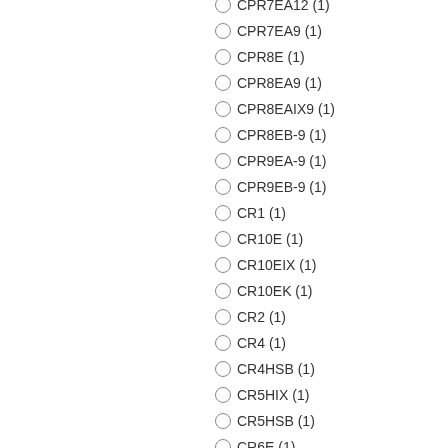CPR7EA9 (1)
CPR8E (1)
CPR8EA9 (1)
CPR8EAIX9 (1)
CPR8EB-9 (1)
CPR9EA-9 (1)
CPR9EB-9 (1)
CR1 (1)
CR10E (1)
CR10EIX (1)
CR10EK (1)
CR2 (1)
CR4 (1)
CR4HSB (1)
CR5HIX (1)
CR5HSB (1)
CR6E (1)